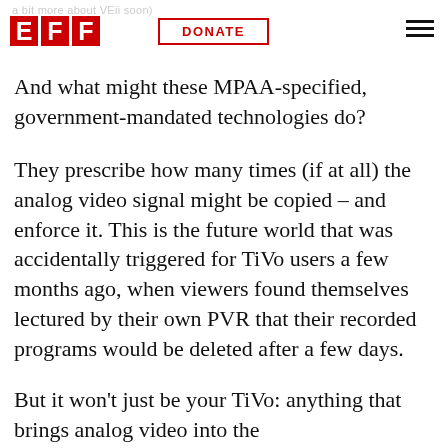a bit more about VEii soon)
EFF   DONATE   ≡
And what might these MPAA-specified, government-mandated technologies do?
They prescribe how many times (if at all) the analog video signal might be copied – and enforce it. This is the future world that was accidentally triggered for TiVo users a few months ago, when viewers found themselves lectured by their own PVR that their recorded programs would be deleted after a few days.
But it won't just be your TiVo: anything that brings analog video into the